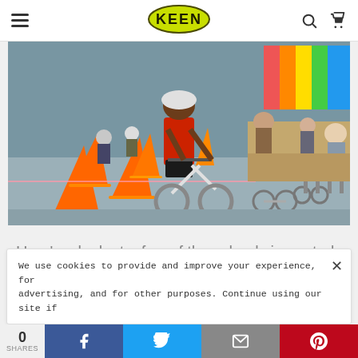KEEN — navigation header with hamburger menu, KEEN logo, search and cart icons
[Figure (photo): Children wearing helmets riding balance bikes through orange traffic cones in a school gymnasium. A child in a red shirt rides in the foreground. More children and bikes visible in background with colorful parachute on walls.]
Here's a look at a few of the schools impacted by the Learn to Ride program:
We use cookies to provide and improve your experience, for advertising, and for other purposes. Continue using our site if
0 SHARES — Share on Facebook, Twitter, Email, Pinterest